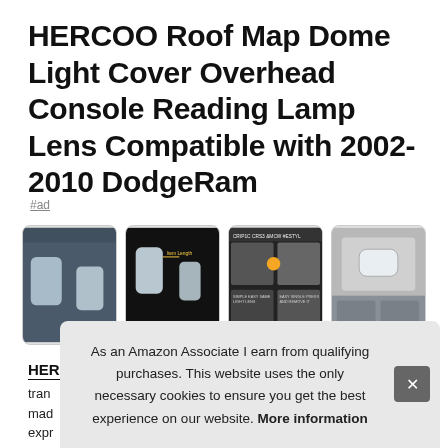HERCOO Roof Map Dome Light Cover Overhead Console Reading Lamp Lens Compatible with 2002-2010 DodgeRam
#ad
[Figure (photo): Four product thumbnail images of the HERCOO dome light cover: (1) two transparent plastic dome light covers installed in a car interior, (2) two transparent dome light covers on black background with measurement annotation, (3) product feature collage showing installation steps, (4) installed dome light cover in car overhead console]
HERCOO
tran
mad
expr
inne
As an Amazon Associate I earn from qualifying purchases. This website uses the only necessary cookies to ensure you get the best experience on our website. More information